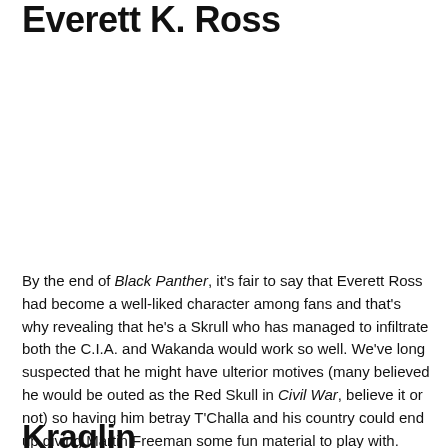Everett K. Ross
By the end of Black Panther, it's fair to say that Everett Ross had become a well-liked character among fans and that's why revealing that he's a Skrull who has managed to infiltrate both the C.I.A. and Wakanda would work so well. We've long suspected that he might have ulterior motives (many believed he would be outed as the Red Skull in Civil War, believe it or not) so having him betray T'Challa and his country could end up giving Martin Freeman some fun material to play with.
Kraglin